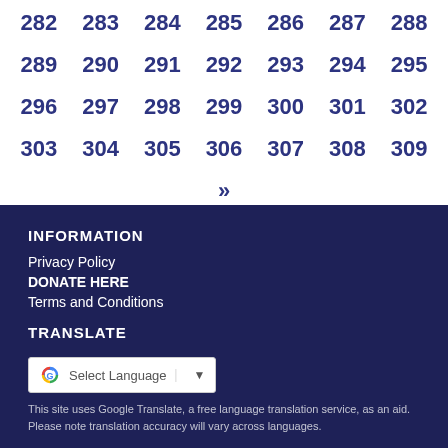282 283 284 285 286 287 288 289 290 291 292 293 294 295 296 297 298 299 300 301 302 303 304 305 306 307 308 309
»
INFORMATION
Privacy Policy
DONATE HERE
Terms and Conditions
TRANSLATE
[Figure (other): Google Translate widget with 'Select Language' dropdown]
This site uses Google Translate, a free language translation service, as an aid. Please note translation accuracy will vary across languages.